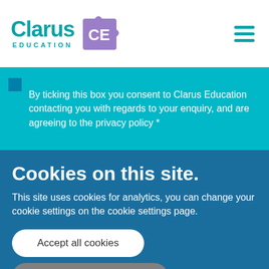[Figure (logo): Clarus Education logo with teal text and purple puzzle piece CE icon]
By ticking this box you consent to Clarus Education contacting you with regards to your enquiry, and are agreeing to the privacy policy *
Cookies on this site.
This site uses cookies for analytics, you can change your cookie settings on the cookie settings page.
Accept all cookies
Manage cookie settings